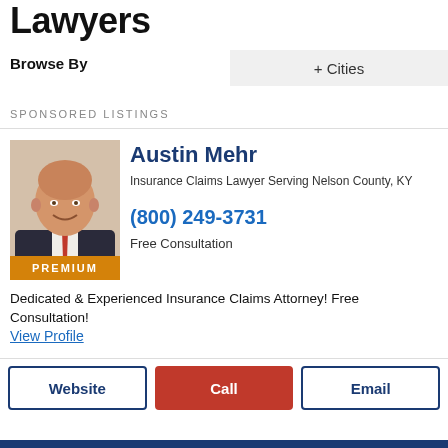Lawyers
Browse By
+ Cities
SPONSORED LISTINGS
[Figure (photo): Headshot of Austin Mehr, a bald man in a dark suit with a red tie, smiling, with PREMIUM badge below]
Austin Mehr
Insurance Claims Lawyer Serving Nelson County, KY
(800) 249-3731
Free Consultation
Dedicated & Experienced Insurance Claims Attorney! Free Consultation!
View Profile
Website
Call
Email